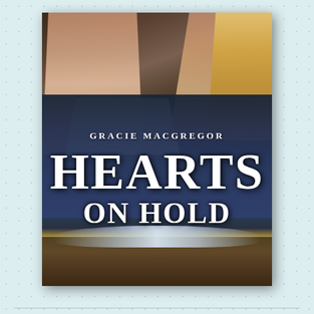[Figure (illustration): Book cover for 'Hearts on Hold' by Gracie MacGregor. Shows a man and woman in close embrace against a dramatic stormy ocean and rocky beach background. The man wears a white tank top, the woman has long blonde hair. Large white serif text displays 'GRACIE MACGREGOR' and the title 'HEARTS ON HOLD'.]